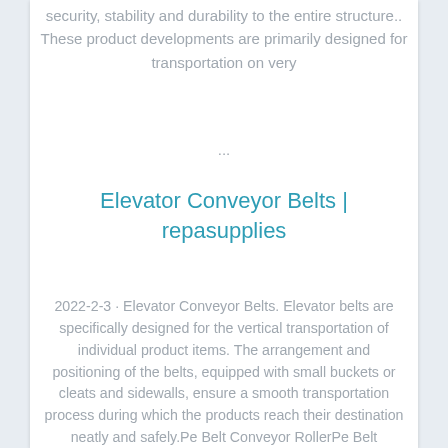security, stability and durability to the entire structure.. These product developments are primarily designed for transportation on very
...
Elevator Conveyor Belts | repasupplies
2022-2-3  ·  Elevator Conveyor Belts. Elevator belts are specifically designed for the vertical transportation of individual product items. The arrangement and positioning of the belts, equipped with small buckets or cleats and sidewalls, ensure a smooth transportation process during which the products reach their destination neatly and safely.Pe Belt Conveyor RollerPe Belt Conveyor Roller Manufacturers, Factory, Suppliers From China, Created solutions with brand price. We attend seriously to produce and behave with